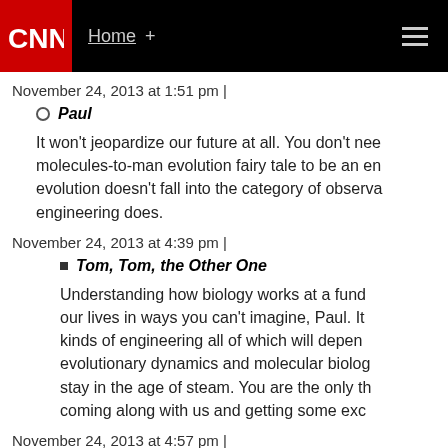CNN Home +
November 24, 2013 at 1:51 pm |
Paul
It won't jeopardize our future at all. You don't need molecules-to-man evolution fairy tale to be an engineer. evolution doesn't fall into the category of observable engineering does.
November 24, 2013 at 4:39 pm |
Tom, Tom, the Other One
Understanding how biology works at a fundamental level will transform our lives in ways you can't imagine, Paul. It will enable kinds of engineering all of which will depend on understanding evolutionary dynamics and molecular biology. You choose to stay in the age of steam. You are the only thing stopping you from coming along with us and getting some education.
November 24, 2013 at 4:57 pm |